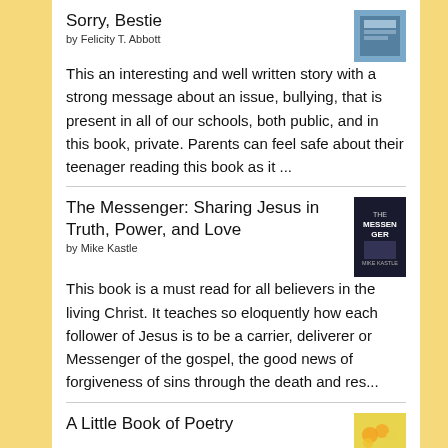Sorry, Bestie
by Felicity T. Abbott
This an interesting and well written story with a strong message about an issue, bullying, that is present in all of our schools, both public, and in this book, private. Parents can feel safe about their teenager reading this book as it ...
The Messenger: Sharing Jesus in Truth, Power, and Love
by Mike Kastle
This book is a must read for all believers in the living Christ. It teaches so eloquently how each follower of Jesus is to be a carrier, deliverer or Messenger of the gospel, the good news of forgiveness of sins through the death and res...
A Little Book of Poetry